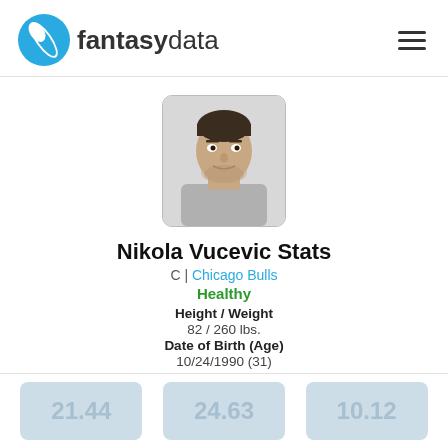fantasydata
[Figure (photo): Headshot photo of Nikola Vucevic, NBA player for Chicago Bulls, facing forward with neutral expression]
Nikola Vucevic Stats
C | Chicago Bulls
Healthy
Height / Weight
82 / 260 lbs.
Date of Birth (Age)
10/24/1990 (31)
Experience
10
College
USC
21.44
24.63
10.12